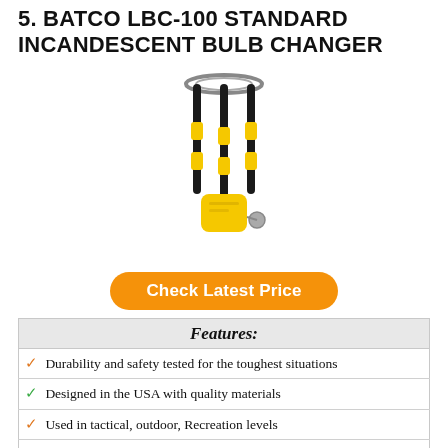5. BATCO LBC-100 STANDARD INCANDESCENT BULB CHANGER
[Figure (photo): BATCO LBC-100 standard incandescent bulb changer tool — yellow and black gripper device with metal top ring and handle knob]
Check Latest Price
| Features: |
| --- |
| ✓ Durability and safety tested for the toughest situations |
| ✓ Designed in the USA with quality materials |
| ✓ Used in tactical, outdoor, Recreation levels |
| ✓ fits Standard Incandescent/Compact Fluorescent bulbs, |
| ✓ Makes Changing Bulbs Easy as 1-2-3 |